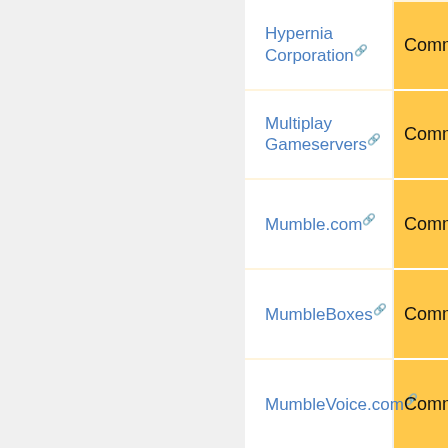| Name | Type |
| --- | --- |
| Hypernia Corporation | Commercial |
| Multiplay Gameservers | Commercial |
| Mumble.com | Commercial |
| MumbleBoxes | Commercial |
| MumbleVoice.com | Commercial |